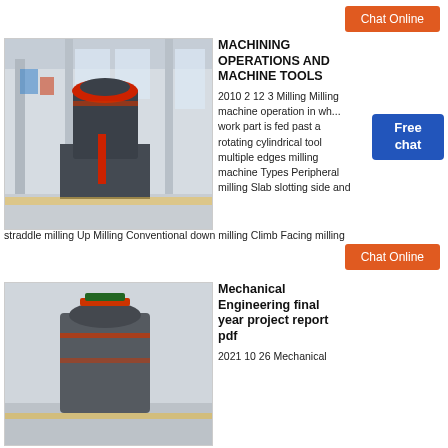[Figure (other): Chat Online button (orange) at top right]
[Figure (photo): Industrial milling machine in a factory setting with red cylindrical tool]
MACHINING OPERATIONS AND MACHINE TOOLS
2010 2 12 3 Milling Milling machine operation in which work part is fed past a rotating cylindrical tool with multiple edges milling machine Types Peripheral milling Slab slotting side and straddle milling Up Milling Conventional down milling Climb Facing milling
[Figure (other): Free chat badge (blue)]
[Figure (other): Chat Online button (orange) in middle right]
[Figure (photo): Industrial machine similar to first, partial view at bottom]
Mechanical Engineering final year project report pdf
2021 10 26 Mechanical